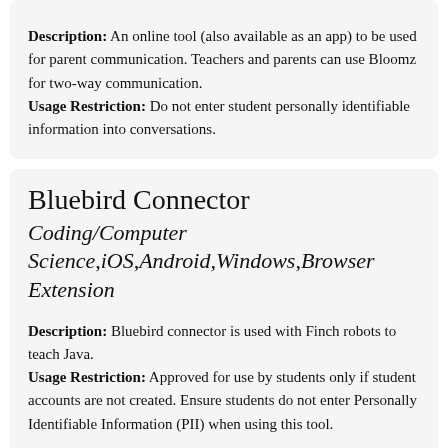Description: An online tool (also available as an app) to be used for parent communication. Teachers and parents can use Bloomz for two-way communication. Usage Restriction: Do not enter student personally identifiable information into conversations.
Bluebird Connector
Coding/Computer Science,iOS,Android,Windows,Browser Extension
Description: Bluebird connector is used with Finch robots to teach Java. Usage Restriction: Approved for use by students only if student accounts are not created. Ensure students do not enter Personally Identifiable Information (PII) when using this tool.